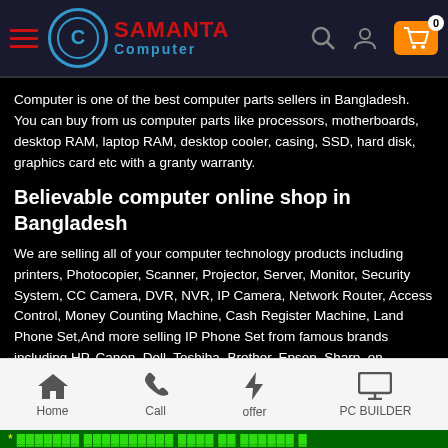[Figure (logo): Samanta Computer logo with circular icon, red hamburger menu, search icon, user icon, and orange shopping cart with badge 0]
Computer is one of the best computer parts sellers in Bangladesh. You can buy from us computer parts like processors, motherboards, desktop RAM, laptop RAM, desktop cooler, casing, SSD, hard disk, graphics card etc with a granty warranty.
Believable computer online shop in Bangladesh
We are selling all of your computer technology products including printers, Photocopier, Scanner, Projector, Server, Monitor, Security System, CC Camera, DVR, NVR, IP Camera, Network Router, Access Control, Money Counting Machine, Cash Register Machine, Land Phone Set,And more selling IP Phone Set from famous brands including HP, Canon, Dell, Toshiba, Brother, Epson, Sharp, on Samanta computer.
Home  Call  offer  PC BUILDER